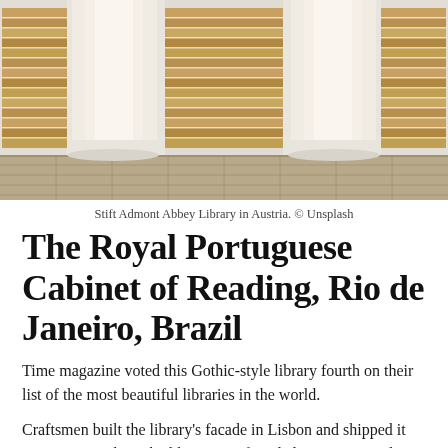[Figure (photo): Interior of a grand library (Stift Admont Abbey Library in Austria) showing tall white ornate bookshelves filled with books, illuminated by large arched windows, with a decorative tile floor.]
Stift Admont Abbey Library in Austria. © Unsplash
The Royal Portuguese Cabinet of Reading, Rio de Janeiro, Brazil
Time magazine voted this Gothic-style library fourth on their list of the most beautiful libraries in the world.
Craftsmen built the library's facade in Lisbon and shipped it over to Rio, where the library was founded, in 1837. Inside, seemingly endless rows of books soar up towards an intricate iron skylight.